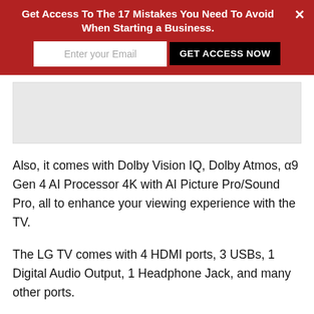Get Access To The 17 Mistakes You Need To Avoid When Starting a Business.
[Figure (other): Gray placeholder image area (advertisement or image block)]
Also, it comes with Dolby Vision IQ, Dolby Atmos, α9 Gen 4 AI Processor 4K with AI Picture Pro/Sound Pro, all to enhance your viewing experience with the TV.
The LG TV comes with 4 HDMI ports, 3 USBs, 1 Digital Audio Output, 1 Headphone Jack, and many other ports.